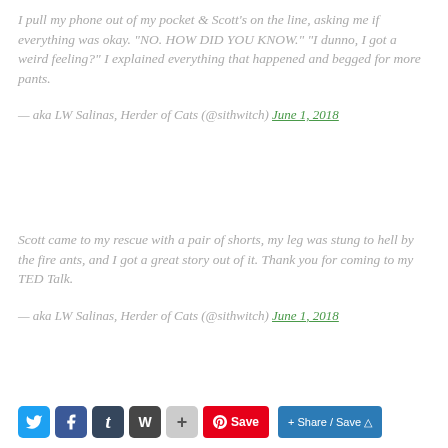I pull my phone out of my pocket & Scott's on the line, asking me if everything was okay. "NO. HOW DID YOU KNOW." "I dunno, I got a weird feeling?" I explained everything that happened and begged for more pants.
— aka LW Salinas, Herder of Cats (@sithwitch) June 1, 2018
Scott came to my rescue with a pair of shorts, my leg was stung to hell by the fire ants, and I got a great story out of it. Thank you for coming to my TED Talk.
— aka LW Salinas, Herder of Cats (@sithwitch) June 1, 2018